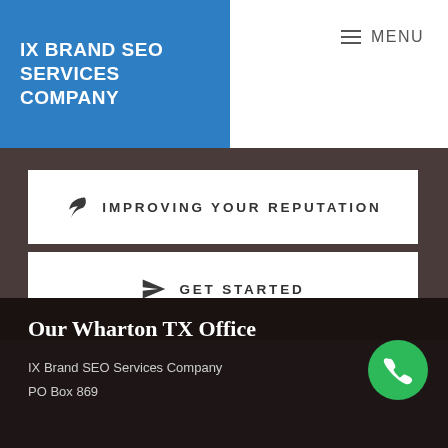IX BRAND SEO SERVICES COMPANY
≡ MENU
IMPROVING YOUR REPUTATION
GET STARTED
Our Wharton TX Office
IX Brand SEO Services Company
PO Box 869